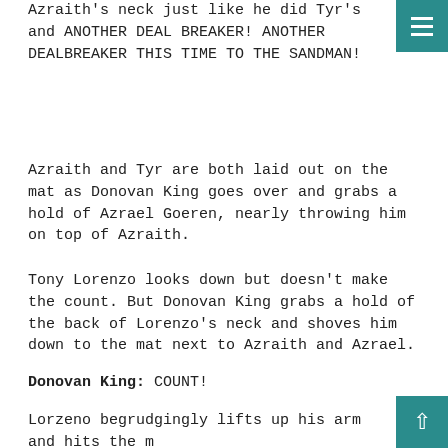Azraith's neck just like he did Tyr's and ANOTHER DEAL BREAKER! ANOTHER DEALBREAKER THIS TIME TO THE SANDMAN!
Azraith and Tyr are both laid out on the mat as Donovan King goes over and grabs a hold of Azrael Goeren, nearly throwing him on top of Azraith.
Tony Lorenzo looks down but doesn't make the count. But Donovan King grabs a hold of the back of Lorenzo's neck and shoves him down to the mat next to Azraith and Azrael.
Donovan King: COUNT!
Lorzeno begrudgingly lifts up his arm and hits the m